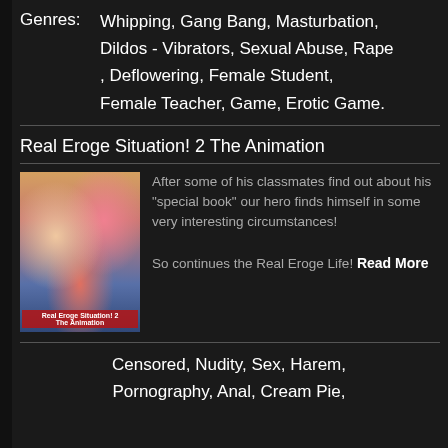Genres: Whipping, Gang Bang, Masturbation, Dildos - Vibrators, Sexual Abuse, Rape, Deflowering, Female Student, Female Teacher, Game, Erotic Game.
Real Eroge Situation! 2 The Animation
[Figure (illustration): Anime-style cover art showing multiple female characters]
After some of his classmates find out about his "special book" our hero finds himself in some very interesting circumstances! So continues the Real Eroge Life! Read More
Censored, Nudity, Sex, Harem, Pornography, Anal, Cream Pie,